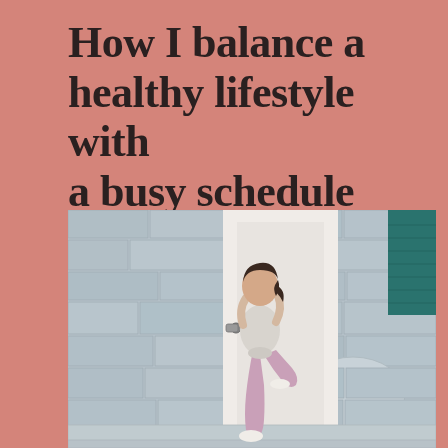How I balance a healthy lifestyle with a busy schedule
[Figure (photo): A woman in purple/mauve athletic leggings and a light grey top stands leaning against a white door frame on a stone building exterior. She has dark hair pulled back, one leg raised, and her arms behind her head. A teal/dark green shutter is visible on the right side of the image.]